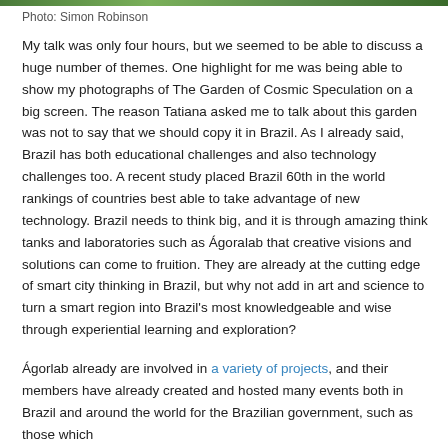Photo: Simon Robinson
My talk was only four hours, but we seemed to be able to discuss a huge number of themes. One highlight for me was being able to show my photographs of The Garden of Cosmic Speculation on a big screen. The reason Tatiana asked me to talk about this garden was not to say that we should copy it in Brazil. As I already said, Brazil has both educational challenges and also technology challenges too. A recent study placed Brazil 60th in the world rankings of countries best able to take advantage of new technology. Brazil needs to think big, and it is through amazing think tanks and laboratories such as Ágoralab that creative visions and solutions can come to fruition. They are already at the cutting edge of smart city thinking in Brazil, but why not add in art and science to turn a smart region into Brazil's most knowledgeable and wise through experiential learning and exploration?
Ágorlab already are involved in a variety of projects, and their members have already created and hosted many events both in Brazil and around the world for the Brazilian government, such as those which